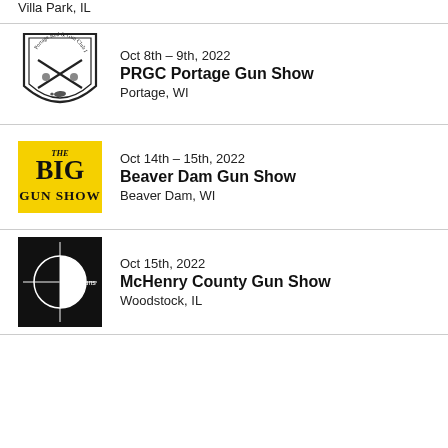Villa Park, IL
[Figure (logo): Portage Rod & Gun Club Inc. shield logo with crossed rifle and fish]
Oct 8th – 9th, 2022
PRGC Portage Gun Show
Portage, WI
[Figure (logo): The Big Gun Show yellow logo with bold black text]
Oct 14th – 15th, 2022
Beaver Dam Gun Show
Beaver Dam, WI
[Figure (logo): D&J Guns black logo with white crosshair circle]
Oct 15th, 2022
McHenry County Gun Show
Woodstock, IL